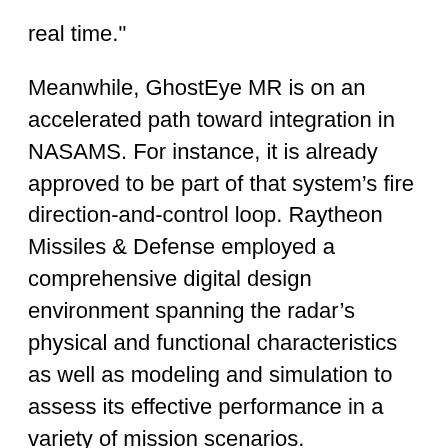real time."
Meanwhile, GhostEye MR is on an accelerated path toward integration in NASAMS. For instance, it is already approved to be part of that system’s fire direction-and-control loop. Raytheon Missiles & Defense employed a comprehensive digital design environment spanning the radar’s physical and functional characteristics as well as modeling and simulation to assess its effective performance in a variety of mission scenarios.
The sensor is currently undergoing open-air testing and multi-mission demonstrations. The data collected through these events is being used to enhance the fidelity of the digital design models.
"When GhostEye MR searches for something,"